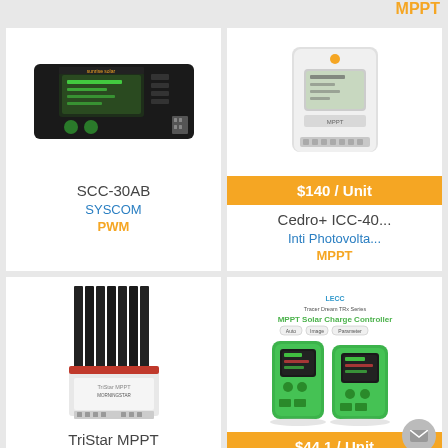MPPT
[Figure (photo): SCC-30AB solar charge controller by SYSCOM, black rectangular device with green display]
SCC-30AB
SYSCOM
PWM
[Figure (photo): Cedro+ ICC-40 solar charge controller by Inti Photovoltaica, white wall-mount unit with LCD screen]
$140 / Unit
Cedro+ ICC-40...
Inti Photovolta...
MPPT
[Figure (photo): TriStar MPPT solar charge controller by SYSCOM, large black heatsink unit]
TriStar MPPT
SYSCOM
MPPT
[Figure (photo): Tracer Dream MPPT Solar Charge Controller, two green compact units side by side]
$44.1 / Unit
Tracer Dream ...